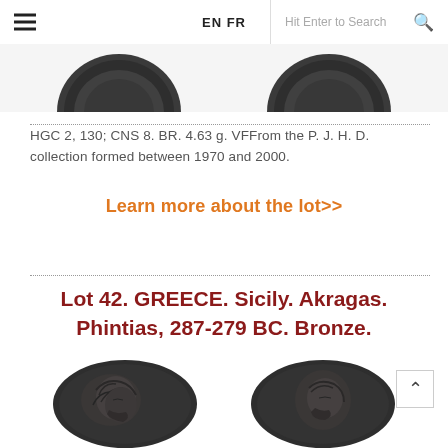EN FR  Hit Enter to Search
[Figure (photo): Partial view of two ancient bronze coins from above, dark background, tops of coins visible]
HGC 2, 130; CNS 8. BR. 4.63 g. VFFrom the P. J. H. D. collection formed between 1970 and 2000.
Learn more about the lot>>
Lot 42. GREECE. Sicily. Akragas. Phintias, 287-279 BC. Bronze.
[Figure (photo): Two ancient bronze coins showing obverse and reverse sides; left coin shows bearded male head (Zeus or Apollo) facing right, right coin shows head facing right, both dark patina]